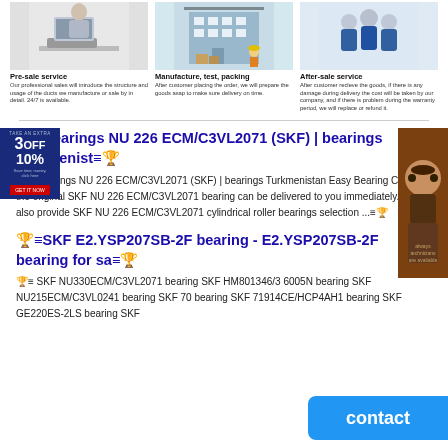[Figure (illustration): Three service columns with illustrations: person at laptop, warehouse/building, team of people]
Pre-sale service
Our professional sales will introduce the structure and usage of the products we manufacture or sale by in detail. 24/7 is available.
Manufacture, test, packing
After customer placing the order, we will prepare the goods asap to make sure delivery on time.
After-sale service
After customer recleve the goods, if there is any damage during delivery the cost will be taken by our company, and if there is problem during the warranty period, we will replace or refund it.
🏆≡Bearings NU 226 ECM/C3VL2071 (SKF) | bearings Turkmenist≡🏆
🏆≡ Bearings NU 226 ECM/C3VL2071 (SKF) | bearings Turkmenistan Easy Bearing Co., Ltd., the original SKF NU 226 ECM/C3VL2071 bearing can be delivered to you immediately. We also provide SKF NU 226 ECM/C3VL2071 cylindrical roller bearings selection ...≡🏆
🏆≡SKF E2.YSP207SB-2F bearing - E2.YSP207SB-2F bearing for sa≡🏆
🏆≡ SKF NU330ECM/C3VL2071 bearing SKF HM801346/3 6005N bearing SKF NU215ECM/C3VL0241 bearing SKF 70 bearing SKF 71914CE/HCP4AH1 bearing SKF GE220ES-2LS bearing SKF